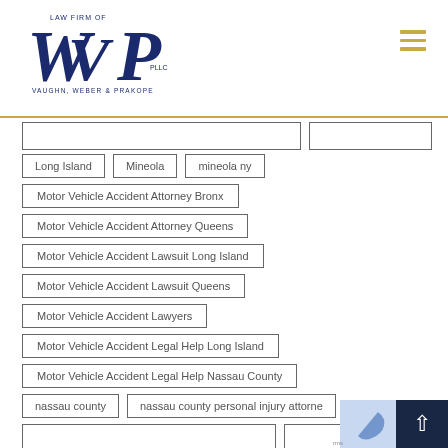LAW FIRM OF VAUGHN, WEBER & PRAKOPE PLLC
Long Island
Mineola
mineola ny
Motor Vehicle Accident Attorney Bronx
Motor Vehicle Accident Attorney Queens
Motor Vehicle Accident Lawsuit Long Island
Motor Vehicle Accident Lawsuit Queens
Motor Vehicle Accident Lawyers
Motor Vehicle Accident Legal Help Long Island
Motor Vehicle Accident Legal Help Nassau County
nassau county
nassau county personal injury attorney